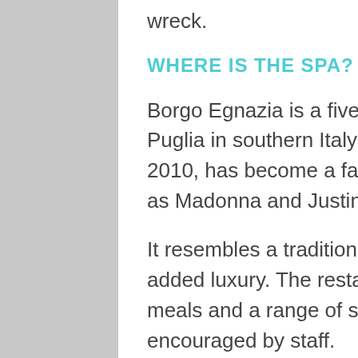wreck.
WHERE IS THE SPA?
Borgo Egnazia is a five-star resort near the coast in Puglia in southern Italy which, since opening its doors in 2010, has become a favourite with US pop royalty such as Madonna and Justin Timberlake.
It resembles a traditional Italian village but with plenty of added luxury. The restaurants offer largely vegetarian meals and a range of sporting activities are on offer and encouraged by staff.